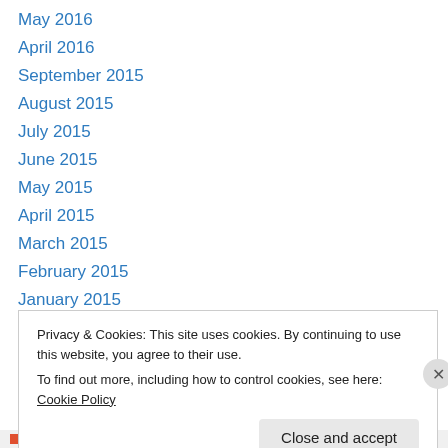May 2016
April 2016
September 2015
August 2015
July 2015
June 2015
May 2015
April 2015
March 2015
February 2015
January 2015
December 2014
November 2014
Privacy & Cookies: This site uses cookies. By continuing to use this website, you agree to their use.
To find out more, including how to control cookies, see here: Cookie Policy